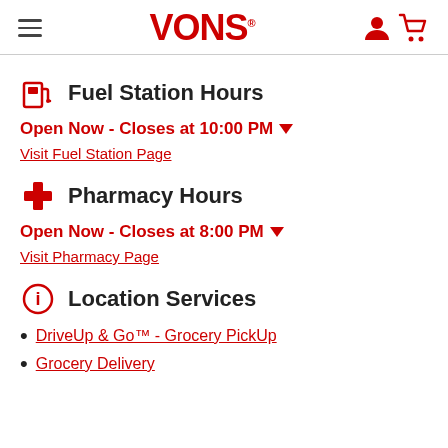VONS
Fuel Station Hours
Open Now - Closes at 10:00 PM
Visit Fuel Station Page
Pharmacy Hours
Open Now - Closes at 8:00 PM
Visit Pharmacy Page
Location Services
DriveUp & Go™ - Grocery PickUp
Grocery Delivery